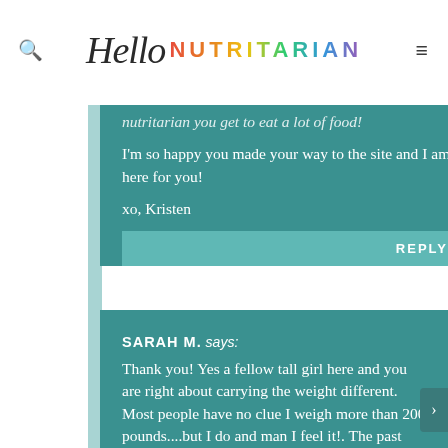Hello NUTRITARIAN
nutritarian you get to eat a lot of food!
I'm so happy you made your way to the site and I am here for you!
xo, Kristen
REPLY
SARAH M. says: Thank you! Yes a fellow tall girl here and you are right about carrying the weight different. Most people have no clue I weigh more than 200 pounds....but I do and man I feel it!. The past week has been pretty good. I have read